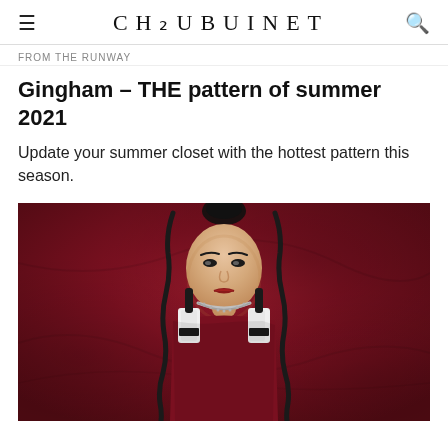CHAUBUINET
FROM THE RUNWAY
Gingham – THE pattern of summer 2021
Update your summer closet with the hottest pattern this season.
[Figure (photo): A young woman with her hair in a bun and braids, wearing a dark red/burgundy strapless dress with white and black strap accents, a silver chain necklace, posed against a deep red draped fabric background, looking directly at camera.]